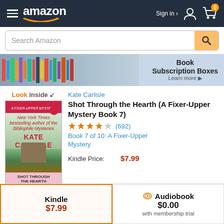Amazon
[Figure (screenshot): Amazon website screenshot showing book listing for Shot Through the Hearth by Kate Carlisle]
Look inside
Kate Carlisle
Shot Through the Hearth (A Fixer-Upper Mystery Book 7)
★★★★½ (692)
Book 7 of 10: A Fixer-Upper Mystery
Kindle Price: $7.99
Kindle $7.99
Audiobook $0.00 with membership trial